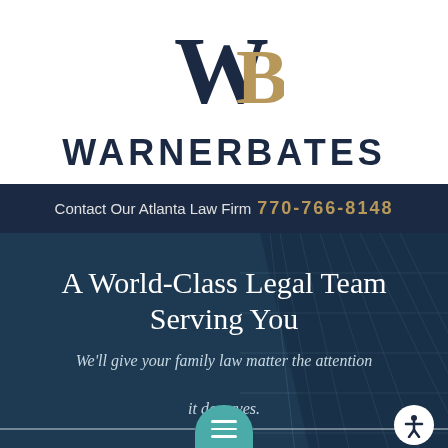[Figure (logo): Warner Bates law firm logo: stylized WB monogram with dark navy W and gold B letterforms]
WARNERBATES
Contact Our Atlanta Law Firm 770-766-8148
A World-Class Legal Team Serving You
We'll give your family law matter the attention it deserves.
[Figure (screenshot): Bottom navigation bar with teal hamburger menu button and white accessibility icon button]